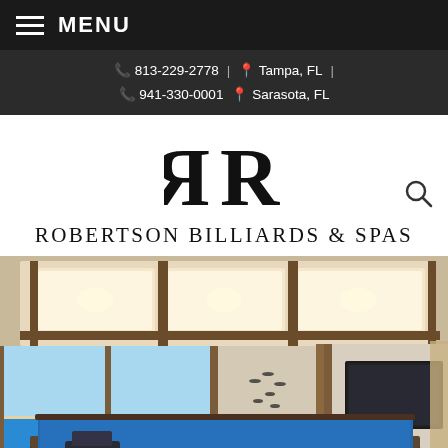MENU
813-229-2778 | Tampa, FL | 941-330-0001 Sarasota, FL
ROBERTSON BILLIARDS & SPAS
[Figure (logo): Robertson Billiards & Spas logo with mirrored R monogram]
[Figure (photo): Interior photo of a luxury billiards room with coffered ceiling lighting, floor-to-ceiling windows overlooking ocean, blue felt pool table in foreground, wall-mounted TV on right wall, bird wall art on left wall]